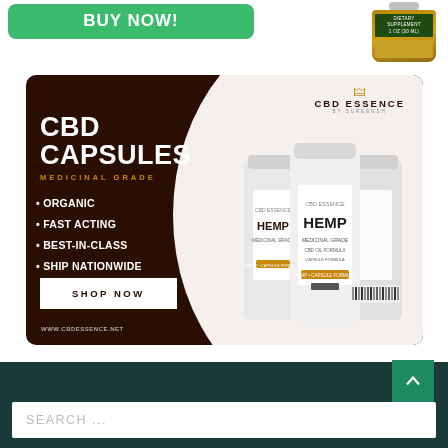[Figure (other): Green 'BUY NOW!' button and a small amber bottle (dietary supplement, 1 oz / 30ml) at the top of the page]
[Figure (infographic): CBD Essence advertisement banner for CBD Capsules Medicinal Grade. Dark brown background with white circle area on the right showing product bottles. Text: CBD CAPSULES, MEDICINAL GRADE, bullet points: ORGANIC, FAST ACTING, BEST-IN-CLASS, SHIP NATIONWIDE. SHOP NOW button. URL: www.cbdessence.net. CBD Essence logo top right. Three white hemp capsule bottles labeled HEMP.]
[Figure (other): Dark teal footer bar with a green scroll-to-top arrow button on the right and a Search input box at the bottom]